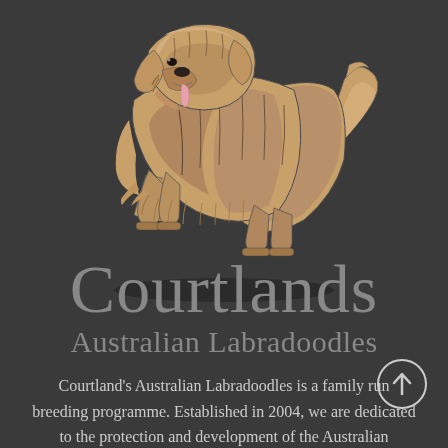[Figure (illustration): Illustrated drawing of a fluffy Australian Labradoodle dog with golden/tan fur, shown in profile facing left with tongue out, on a dark gray background]
Courtlands
Australian Labradoodles
[Figure (other): Circle with an upward-pointing arrow icon (scroll to top button)]
Courtland's Australian Labradoodles is a family run breeding programme. Established in 2004, we are dedicated to the protection and development of the Australian Labradoodle.